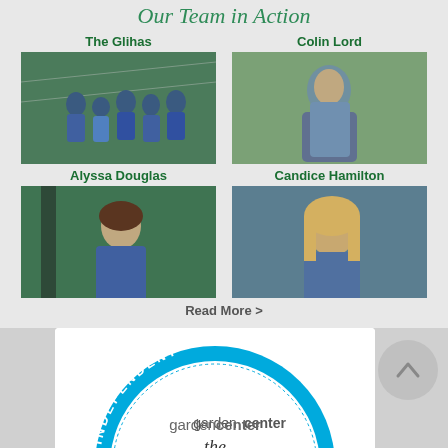Our Team in Action
[Figure (photo): Group photo of The Glihas family/team in blue shirts inside a greenhouse/garden center]
[Figure (photo): Photo of Colin Lord, a man in a blue button-up shirt standing in a garden center]
[Figure (photo): Photo of Alyssa Douglas, a woman in a blue tank top smiling in a garden center]
[Figure (photo): Photo of Candice Hamilton, a woman with blonde hair in a blue top taking a selfie]
Read More >
[Figure (logo): Independent Garden Center badge/logo with blue arc text reading INDEPENDENT around the top, gardencenter magazine logo in center, and 'the' in script at bottom]